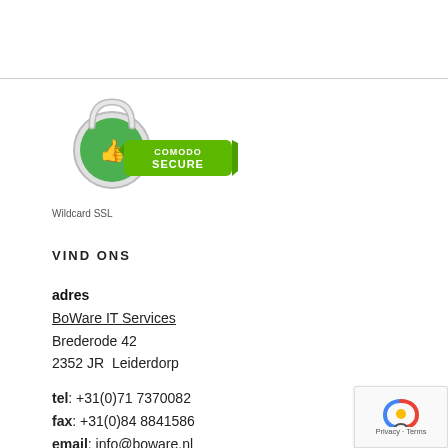[Figure (logo): Comodo Secure badge with padlock and green thumbs-up icon, showing 'COMODO SECURE' text on green banner]
Wildcard SSL
VIND ONS
adres
BoWare IT Services
Brederode 42
2352 JR  Leiderdorp
tel: +31(0)71 7370082
fax: +31(0)84 8841586
email: info@boware.nl